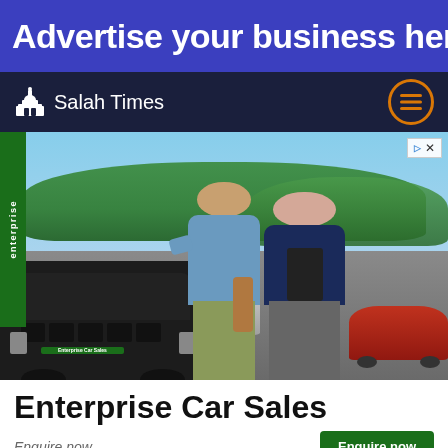Advertise your business here
Salah Times
[Figure (photo): Enterprise Car Sales advertisement showing two women talking in a car dealership parking lot with a Jeep Compass in the foreground and the Enterprise green sign on the left]
Enterprise Car Sales
Enquire now